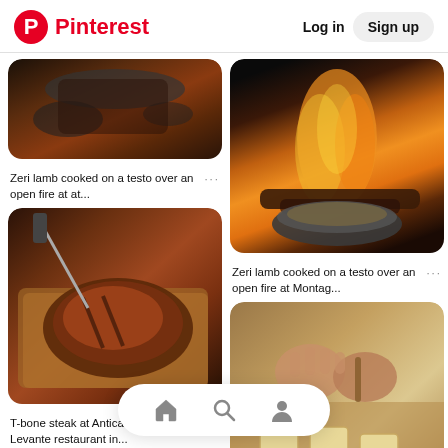Pinterest  Log in  Sign up
[Figure (photo): Food cooking on embers/fire - partial top view]
Zeri lamb cooked on a testo over an open fire at at...
[Figure (photo): Zeri lamb cooking on open fire with flames visible]
Zeri lamb cooked on a testo over an open fire at Montag...
[Figure (photo): T-bone steak on wooden cutting board]
T-bone steak at Antica Porta di Levante restaurant in...
[Figure (photo): Pasta/ravioli being made by hand on wooden surface]
at L'Antica e restaurant ...
[Figure (photo): Food dish being served at restaurant - partial]
[Figure (photo): Bottom right food image - partial]